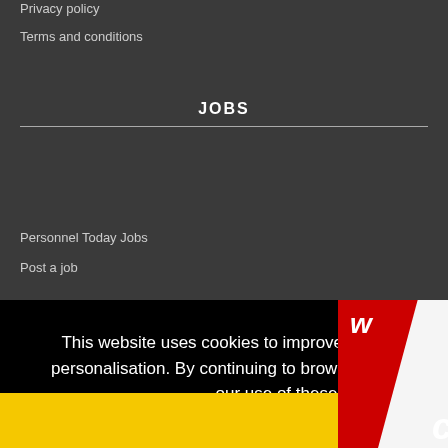Privacy policy
Terms and conditions
JOBS
Personnel Today Jobs
Post a job
This website uses cookies to improve your experience and for ads personalisation. By continuing to browse this site you are agreeing to our use of these cookies. You can learn more about the cookies we use here.
OK